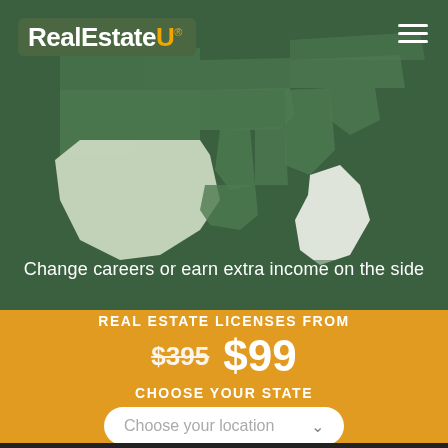[Figure (map): US map showing southeastern states in green/grey tones as background for RealEstateU website header]
RealEstateU®
Change careers or earn extra income on the side
REAL ESTATE LICENSES FROM
$395  $99
CHOOSE YOUR STATE
Choose your location